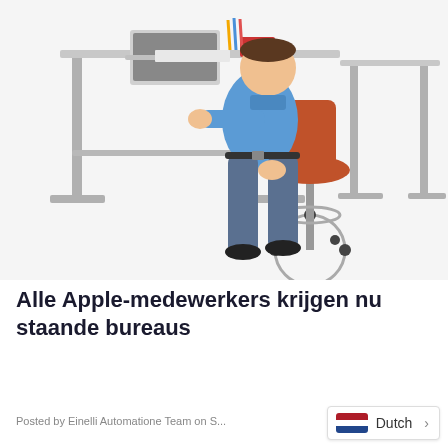[Figure (photo): A man in a blue shirt and jeans sitting on a tall orange ergonomic chair at a height-adjustable standing desk, working on a laptop. Another adjustable desk is visible in the background on the right. Items on the desk include a red book, pencils, and papers. The background is white.]
Alle Apple-medewerkers krijgen nu staande bureaus
Posted by Einelli Automatione Team on S...